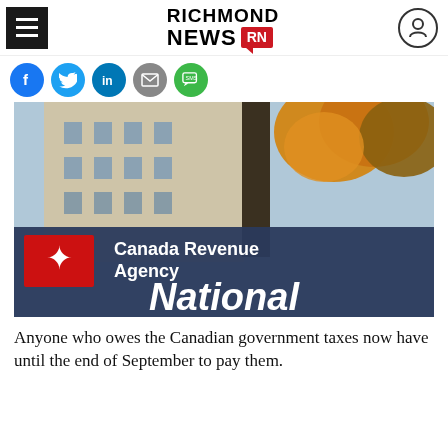Richmond News
[Figure (photo): Canada Revenue Agency building sign with autumn trees and stone building in background. Sign reads 'Canada Revenue Agency' with Canadian maple leaf flag logo, and 'National' in white text below.]
Anyone who owes the Canadian government taxes now have until the end of September to pay them.